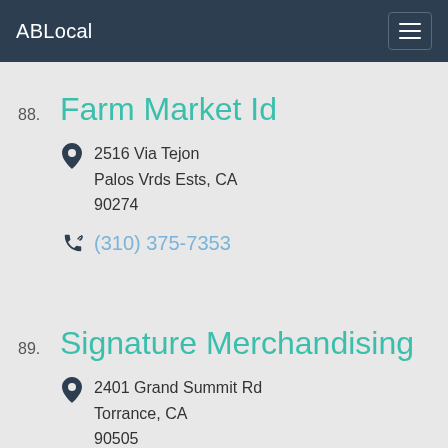ABLocal
88. Farm Market Id
2516 Via Tejon
Palos Vrds Ests, CA
90274
(310) 375-7353
89. Signature Merchandising
2401 Grand Summit Rd
Torrance, CA
90505